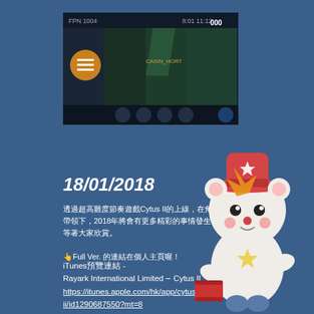[Figure (screenshot): Screenshot of a rhythm game (Cytus II) showing gameplay interface with song selection and visual elements including character icons and navigation buttons]
18/01/2018
透過超高難度節奏遊戲Cytus II的上線，在角色Rayark.ne 的帶領下，2018年將會有更多精彩的事情發生，更多優質的音樂等著大家欣賞。
👆Full Ver. 的連結在個人主頁喔！
iTunes預覽連結 -
Rayark International Limited ‒ Cytus II
https://itunes.apple.com/hk/app/cytus-ii/id1290687550?mt=8
[Figure (illustration): Cartoon cute bear/animal character in festive outfit holding a drum and shooting stars, colorful chibi style illustration]